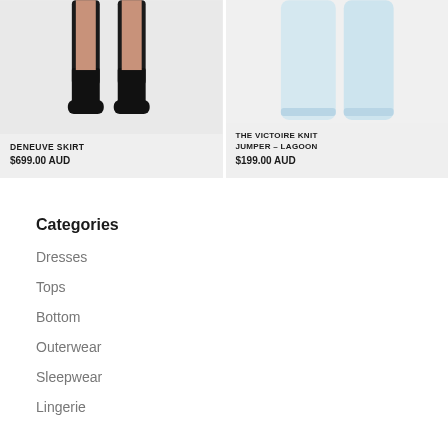[Figure (photo): Product photo of Deneuve Skirt showing model's legs wearing black knee-high boots, cropped at top]
DENEUVE SKIRT
$699.00 AUD
[Figure (photo): Product photo of The Victoire Knit Jumper in Lagoon color showing model's lower body in light blue pants]
THE VICTOIRE KNIT JUMPER – LAGOON
$199.00 AUD
Categories
Dresses
Tops
Bottom
Outerwear
Sleepwear
Lingerie
Chat with us